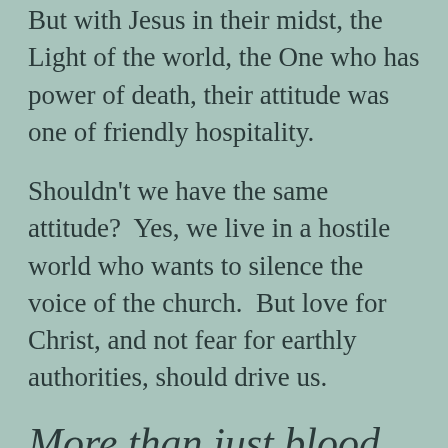But with Jesus in their midst, the Light of the world, the One who has power of death, their attitude was one of friendly hospitality.
Shouldn't we have the same attitude?  Yes, we live in a hostile world who wants to silence the voice of the church.  But love for Christ, and not fear for earthly authorities, should drive us.
More than just blood brother and sisters
Serving Martha